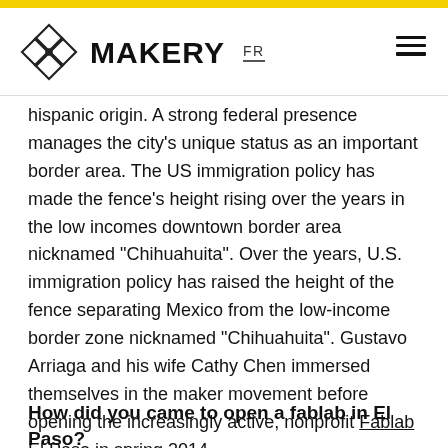MAKERY FR
hispanic origin. A strong federal presence manages the city's unique status as an important border area. The US immigration policy has made the fence's height rising over the years in the low incomes downtown border area nicknamed “Chi­huahuita”. Over the years, U.S. immigration policy has raised the height of the fence separating Mexico from the low-income border zone nicknamed “Chi­huahuita”. Gustavo Arriaga and his wife Cathy Chen immersed themselves in the maker movement before opening the increasingly active, nonprofit Fablab El Paso in spring 2014.
How did you came to open a fablab in El Paso?